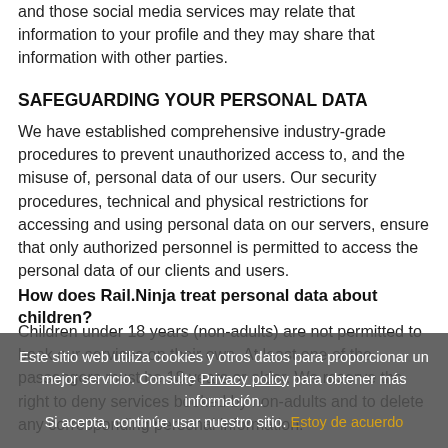and those social media services may relate that information to your profile and they may share that information with other parties.
SAFEGUARDING YOUR PERSONAL DATA
We have established comprehensive industry-grade procedures to prevent unauthorized access to, and the misuse of, personal data of our users. Our security procedures, technical and physical restrictions for accessing and using personal data on our servers, ensure that only authorized personnel is permitted to access the personal data of our clients and users.
How does Rail.Ninja treat personal data about children?
Children under 18 years (non-adults) are not permitted to book our services on their own. At least one of the passengers must be 18 years or older. We reserve the right to deny services booked by non-adults and to delete any corresponding personal information.
Este sitio web utiliza cookies y otros datos para proporcionar un mejor servicio. Consulte Privacy policy para obtener más información.
Si acepta, continúe usar nuestro sitio. Estoy de acuerdo